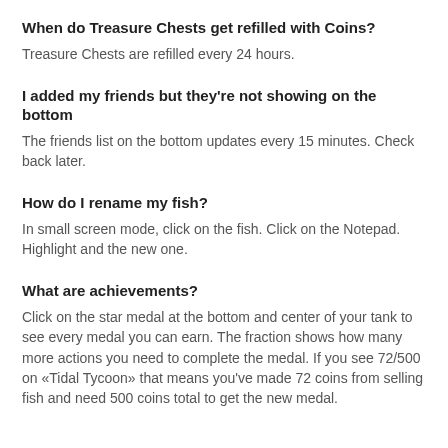When do Treasure Chests get refilled with Coins?
Treasure Chests are refilled every 24 hours.
I added my friends but they're not showing on the bottom
The friends list on the bottom updates every 15 minutes. Check back later.
How do I rename my fish?
In small screen mode, click on the fish. Click on the Notepad. Highlight and the new one.
What are achievements?
Click on the star medal at the bottom and center of your tank to see every medal you can earn. The fraction shows how many more actions you need to complete the medal. If you see 72/500 on «Tidal Tycoon» that means you've made 72 coins from selling fish and need 500 coins total to get the new medal.